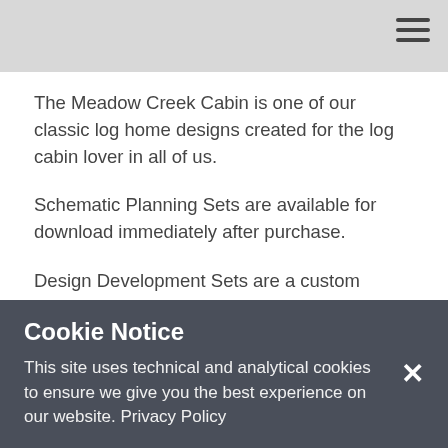The Meadow Creek Cabin is one of our classic log home designs created for the log cabin lover in all of us.
Schematic Planning Sets are available for download immediately after purchase.
Design Development Sets are a custom product, and as such may take up to 30 days for production and delivery.
Want to customize this plan with a Virtual Design session?
Cookie Notice
This site uses technical and analytical cookies to ensure we give you the best experience on our website. Privacy Policy